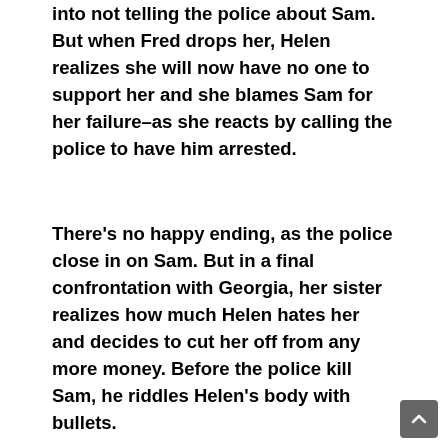into not telling the police about Sam. But when Fred drops her, Helen realizes she will now have no one to support her and she blames Sam for her failure–as she reacts by calling the police to have him arrested.
There's no happy ending, as the police close in on Sam. But in a final confrontation with Georgia, her sister realizes how much Helen hates her and decides to cut her off from any more money. Before the police kill Sam, he riddles Helen's body with bullets.
This was a bleak tale, but in a perverse way it was fun to see such a woeful collection of misfits. The rotund and corruptible Slezak couldn't be sleazier, while Elisha Cook, Jr. came in a close second with his performance of the loyal hack who for some inexplicable reason would even murder for friendship's sake. Esther Howard added her brand of misogyny to the mix by acting so daffy, and showing some